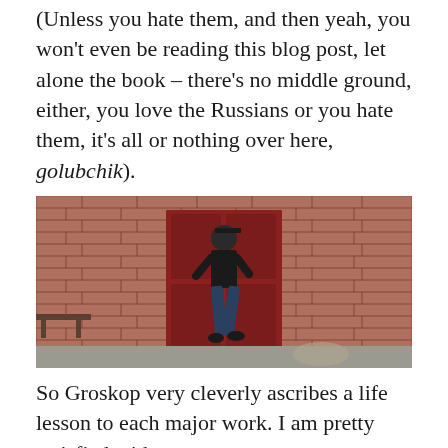(Unless you hate them, and then yeah, you won't even be reading this blog post, let alone the book – there's no middle ground, either, you love the Russians or you hate them, it's all or nothing over here, golubchik).
[Figure (photo): A person wearing a black jacket and cap dancing or jumping in front of a red brick wall with a red door. There is a bench visible on the left side.]
So Groskop very cleverly ascribes a life lesson to each major work. I am pretty satisfied with